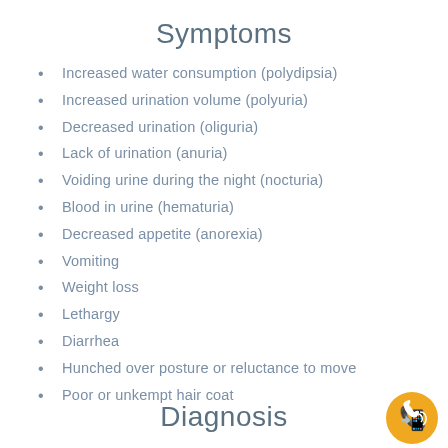Symptoms
Increased water consumption (polydipsia)
Increased urination volume (polyuria)
Decreased urination (oliguria)
Lack of urination (anuria)
Voiding urine during the night (nocturia)
Blood in urine (hematuria)
Decreased appetite (anorexia)
Vomiting
Weight loss
Lethargy
Diarrhea
Hunched over posture or reluctance to move
Poor or unkempt hair coat
Diagnosis